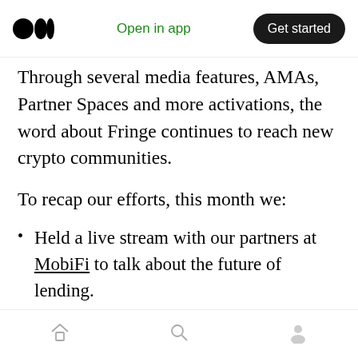Open in app | Get started
Through several media features, AMAs, Partner Spaces and more activations, the word about Fringe continues to reach new crypto communities.
To recap our efforts, this month we:
Held a live stream with our partners at MobiFi to talk about the future of lending.
Conducted AMAs with Chainlink communities in English and Russian.
Introduced a sick pack of stickers to our
Home | Search | Profile